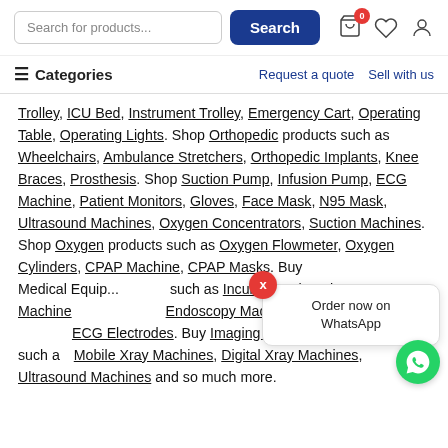Search for products... Search [cart 0] [wishlist] [user]
≡ Categories | Request a quote | Sell with us
Trolley, ICU Bed, Instrument Trolley, Emergency Cart, Operating Table, Operating Lights. Shop Orthopedic products such as Wheelchairs, Ambulance Stretchers, Orthopedic Implants, Knee Braces, Prosthesis. Shop Suction Pump, Infusion Pump, ECG Machine, Patient Monitors, Gloves, Face Mask, N95 Mask, Ultrasound Machines, Oxygen Concentrators, Suction Machines. Shop Oxygen products such as Oxygen Flowmeter, Oxygen Cylinders, CPAP Machine, CPAP Masks. Buy Medical Equipment such as Incubator, Phototherapy Machine, Endoscopy Machines, Defibrillators, Oxygen... ECG Electrodes. Buy Imaging And Diagnostic products such as Mobile Xray Machines, Digital Xray Machines, Ultrasound Machines and so much more.